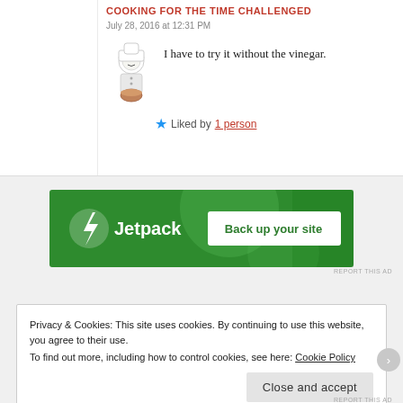COOKING FOR THE TIME CHALLENGED
July 28, 2016 at 12:31 PM
I have to try it without the vinegar.
★ Liked by 1 person
[Figure (other): Jetpack advertisement banner with green background, Jetpack logo and 'Back up your site' button]
REPORT THIS AD
Privacy & Cookies: This site uses cookies. By continuing to use this website, you agree to their use.
To find out more, including how to control cookies, see here: Cookie Policy
Close and accept
REPORT THIS AD